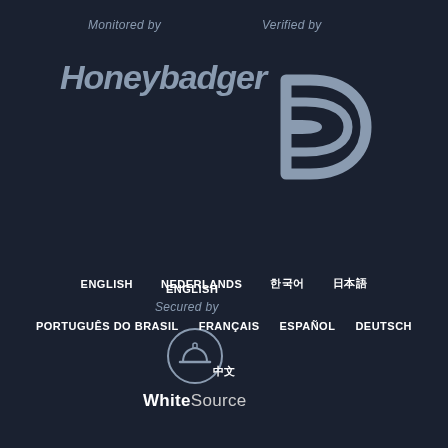Monitored by
[Figure (logo): Honeybadger logo in italic bold grey text on dark background]
Verified by
[Figure (logo): Stylized D-shaped logo (Drive) in grey on dark background]
Secured by
[Figure (logo): WhiteSource logo: circular helmet icon above WhiteSource text]
ENGLISH
NEDERLANDS
한국어
日本語
PORTUGUÊS DO BRASIL
FRANÇAIS
ESPAÑOL
DEUTSCH
中文